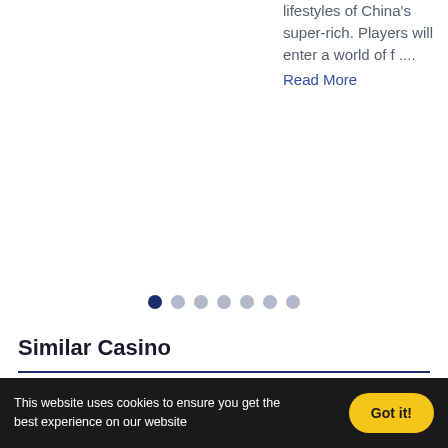lifestyles of China's super-rich. Players will enter a world of f .... Read More
[Figure (other): Pagination dots indicator with 7 dots, first dot active (dark blue), rest light grey]
Similar Casino
This website uses cookies to ensure you get the best experience on our website